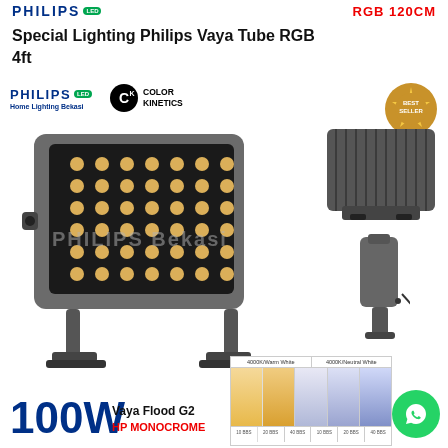RGB 120CM
Special Lighting Philips Vaya Tube RGB 4ft
[Figure (photo): Philips LED Color Kinetics Vaya Flood G2 100W HP Monocrome floodlight product image showing front view with LED array, rear view, side profile, and color temperature swatches (3000K Warm White and 4000K Neutral White). Philips and Best Seller badges visible. PHILIPS Bekasi watermark.]
100W
Vaya Flood G2
HP MONOCROME